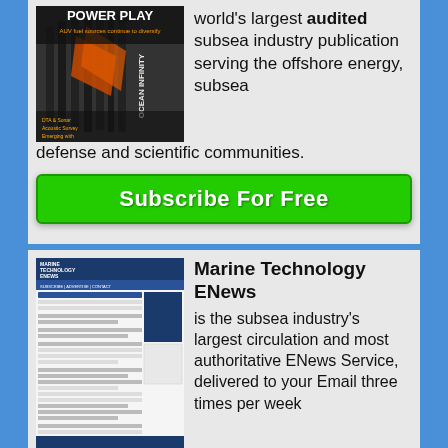[Figure (photo): Magazine cover titled POWER PLAY with Ocean Infinity branding, showing subsea/AUV imagery]
world's largest audited subsea industry publication serving the offshore energy, subsea defense and scientific communities.
[Figure (other): Green Subscribe For Free button]
[Figure (screenshot): Screenshot of Marine Technology ENews website]
Marine Technology ENews is the subsea industry's largest circulation and most authoritative ENews Service, delivered to your Email three times per week